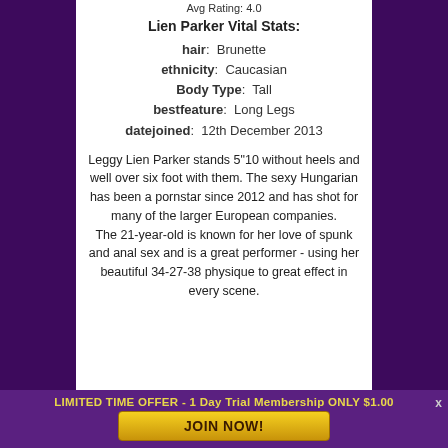Avg Rating: 4.0
Lien Parker Vital Stats:
hair:  Brunette
ethnicity:  Caucasian
Body Type:  Tall
bestfeature:  Long Legs
datejoined:  12th December 2013
Leggy Lien Parker stands 5"10 without heels and well over six foot with them. The sexy Hungarian has been a pornstar since 2012 and has shot for many of the larger European companies.
The 21-year-old is known for her love of spunk and anal sex and is a great performer - using her beautiful 34-27-38 physique to great effect in every scene.
LIMITED TIME OFFER - 1 Day Trial Membership ONLY $1.00
JOIN NOW!